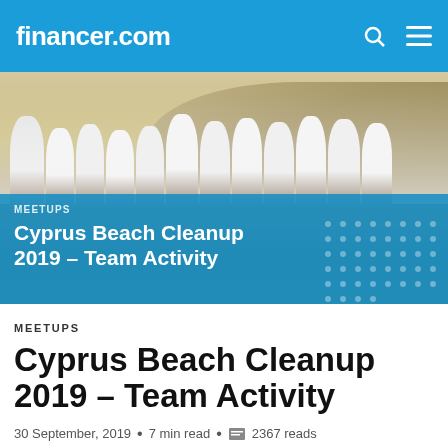financer.com
[Figure (photo): Group photo of financer.com team members in white polo shirts at a beach/rocky landscape, posing for the Cyprus Beach Cleanup 2019 team activity]
MEETUPS
Cyprus Beach Cleanup 2019 – Team Activity
MEETUPS
Cyprus Beach Cleanup 2019 – Team Activity
30 September, 2019 • 7 min read • 2367 reads
Author